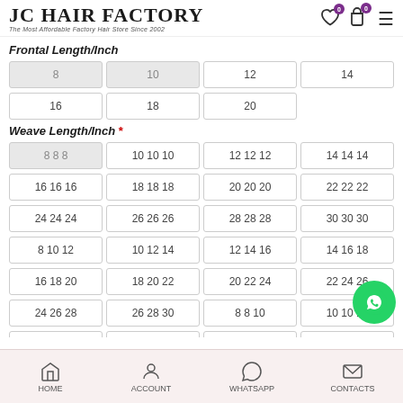JC HAIR FACTORY - The Most Affordable Factory Hair Store Since 2002
Frontal Length/Inch
| 8 | 10 | 12 | 14 |
| 16 | 18 | 20 |  |
Weave Length/Inch *
| 8 8 8 | 10 10 10 | 12 12 12 | 14 14 14 |
| 16 16 16 | 18 18 18 | 20 20 20 | 22 22 22 |
| 24 24 24 | 26 26 26 | 28 28 28 | 30 30 30 |
| 8 10 12 | 10 12 14 | 12 14 16 | 14 16 18 |
| 16 18 20 | 18 20 22 | 20 22 24 | 22 24 26 |
| 24 26 28 | 26 28 30 | 8 8 10 | 10 10 12 |
| 12 12 14 | 14 14 16 | 16 16 18 | 18 18 20 |
HOME  ACCOUNT  WHATSAPP  CONTACTS